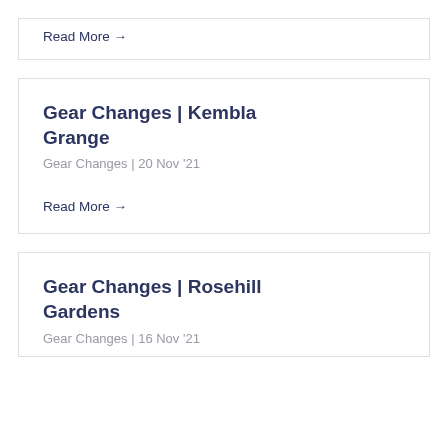Read More →
Gear Changes | Kembla Grange
Gear Changes | 20 Nov '21
Read More →
Gear Changes | Rosehill Gardens
Gear Changes | 16 Nov '21